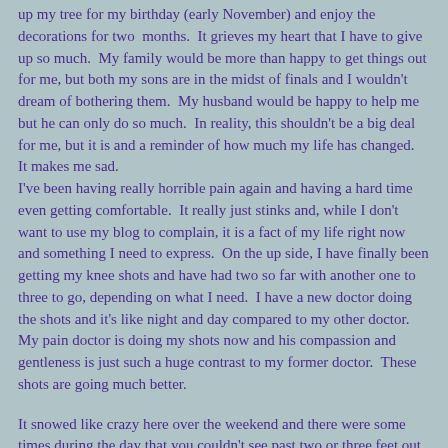up my tree for my birthday (early November) and enjoy the decorations for two  months.  It grieves my heart that I have to give up so much.  My family would be more than happy to get things out for me, but both my sons are in the midst of finals and I wouldn't dream of bothering them.  My husband would be happy to help me but he can only do so much.  In reality, this shouldn't be a big deal for me, but it is and a reminder of how much my life has changed.  It makes me sad.
I've been having really horrible pain again and having a hard time even getting comfortable.  It really just stinks and, while I don't want to use my blog to complain, it is a fact of my life right now and something I need to express.  On the up side, I have finally been getting my knee shots and have had two so far with another one to three to go, depending on what I need.  I have a new doctor doing the shots and it's like night and day compared to my other doctor.  My pain doctor is doing my shots now and his compassion and gentleness is just such a huge contrast to my former doctor.  These shots are going much better.
It snowed like crazy here over the weekend and there were some times during the day that you couldn't see past two or three feet out the window.  It was like a blizzard out there.  It also stayed cold enough that the snow was on the ground for several days instead of just melting off in a day.  I am happy to report that today it did melt a lot and got a lot warmer out.  I'm glad I didn't have to get out in that